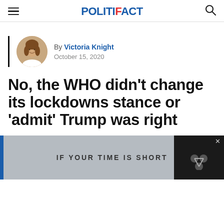POLITIFACT
[Figure (photo): Circular author headshot photo of Victoria Knight]
By Victoria Knight
October 15, 2020
No, the WHO didn't change its lockdowns stance or 'admit' Trump was right
IF YOUR TIME IS SHORT